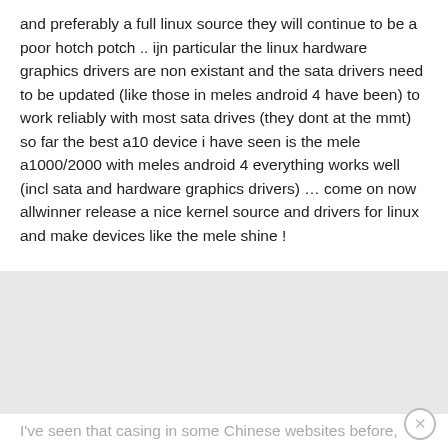and preferably a full linux source they will continue to be a poor hotch potch .. ijn particular the linux hardware graphics drivers are non existant and the sata drivers need to be updated (like those in meles android 4 have been) to work reliably with most sata drives (they dont at the mmt)
so far the best a10 device i have seen is the mele a1000/2000 with meles android 4 everything works well (incl sata and hardware graphics drivers) … come on now allwinner release a nice kernel source and drivers for linux and make devices like the mele shine !
cnxsoft says:
08/28/2012 at 8:03 AM
I've seen that casing in some Chinese websites before,